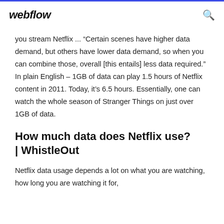webflow
you stream Netflix ... “Certain scenes have higher data demand, but others have lower data demand, so when you can combine those, overall [this entails] less data required.” In plain English – 1GB of data can play 1.5 hours of Netflix content in 2011. Today, it’s 6.5 hours. Essentially, one can watch the whole season of Stranger Things on just over 1GB of data.
How much data does Netflix use? | WhistleOut
Netflix data usage depends a lot on what you are watching, how long you are watching it for,